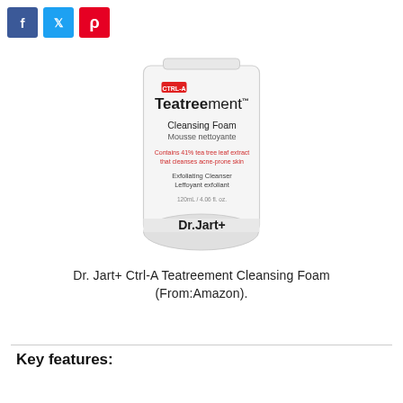[Figure (photo): Dr. Jart+ Ctrl-A Teatreement Cleansing Foam product bottle — white cylindrical bottle with rounded bottom, red CTRL-A badge, black bold 'Teatreement' text, 'Cleansing Foam / Mousse nettoyante' text, red ingredient/acne text, 'Exfoliating Cleanser / Leffoyant exfoliant' text, volume '120mL / 4.06 fl. oz.', and 'Dr.Jart+' logo at bottom.]
Dr. Jart+ Ctrl-A Teatreement Cleansing Foam (From:Amazon).
Key features: